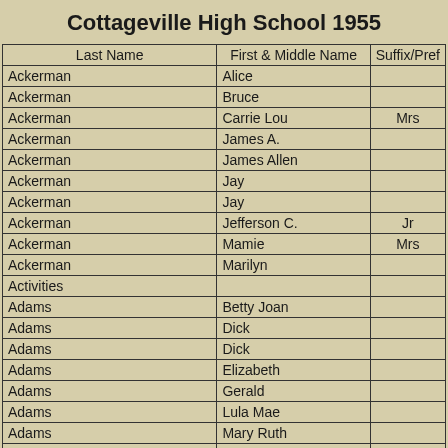Cottageville High School 1955
| Last Name | First & Middle Name | Suffix/Pref |
| --- | --- | --- |
| Ackerman | Alice |  |
| Ackerman | Bruce |  |
| Ackerman | Carrie Lou | Mrs |
| Ackerman | James A. |  |
| Ackerman | James Allen |  |
| Ackerman | Jay |  |
| Ackerman | Jay |  |
| Ackerman | Jefferson C. | Jr |
| Ackerman | Mamie | Mrs |
| Ackerman | Marilyn |  |
| Activities |  |  |
| Adams | Betty Joan |  |
| Adams | Dick |  |
| Adams | Dick |  |
| Adams | Elizabeth |  |
| Adams | Gerald |  |
| Adams | Lula Mae |  |
| Adams | Mary Ruth |  |
| Adams | No First Name |  |
| Addison | Jackie |  |
| Addison | Jacqueline |  |
| Addison | Jacqueline |  |
| Addison | Jacqueline Lucile |  |